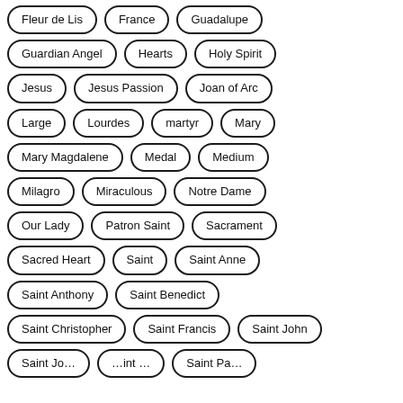Fleur de Lis
France
Guadalupe
Guardian Angel
Hearts
Holy Spirit
Jesus
Jesus Passion
Joan of Arc
Large
Lourdes
martyr
Mary
Mary Magdalene
Medal
Medium
Milagro
Miraculous
Notre Dame
Our Lady
Patron Saint
Sacrament
Sacred Heart
Saint
Saint Anne
Saint Anthony
Saint Benedict
Saint Christopher
Saint Francis
Saint John